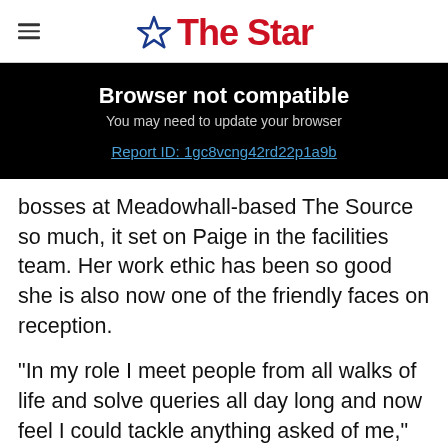The Star
[Figure (screenshot): Browser not compatible error banner on black background. Text: 'Browser not compatible', 'You may need to update your browser', 'Report ID: 1gc8vcng42rd22p1a9b']
bosses at Meadowhall-based The Source so much, it set on Paige in the facilities team. Her work ethic has been so good she is also now one of the friendly faces on reception.
“In my role I meet people from all walks of life and solve queries all day long and now feel I could tackle anything asked of me,” said Paige, who is now on a Level 2 customer service